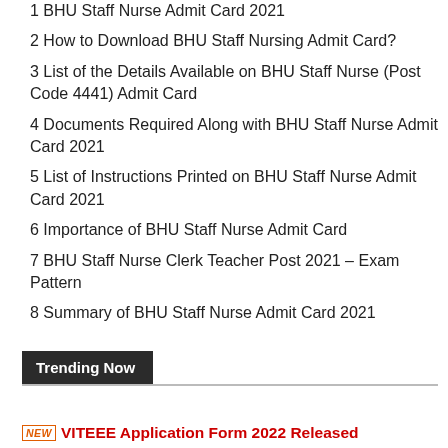1 BHU Staff Nurse Admit Card 2021
2 How to Download BHU Staff Nursing Admit Card?
3 List of the Details Available on BHU Staff Nurse (Post Code 4441) Admit Card
4 Documents Required Along with BHU Staff Nurse Admit Card 2021
5 List of Instructions Printed on BHU Staff Nurse Admit Card 2021
6 Importance of BHU Staff Nurse Admit Card
7 BHU Staff Nurse Clerk Teacher Post 2021 – Exam Pattern
8 Summary of BHU Staff Nurse Admit Card 2021
Trending Now
NEW VITEEE Application Form 2022 Released